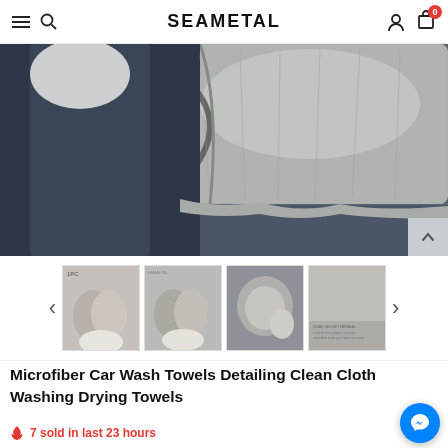SEAMETAL
[Figure (photo): Close-up of a gray fluffy microfiber towel on a dark blue surface, with a hand or fabric visible on the left]
[Figure (photo): Thumbnail 1: 1PC label, gray towel being held by white-gloved hands]
[Figure (photo): Thumbnail 2: SEAMETAL branded gray towel held by white-gloved hands]
[Figure (photo): Thumbnail 3: Gray microfiber towel in use on a car interior]
[Figure (photo): Thumbnail 4: Close-up of fuzzy gray towel texture with product text overlay]
Microfiber Car Wash Towels Detailing Clean Cloth Washing Drying Towels
7 sold in last 23 hours